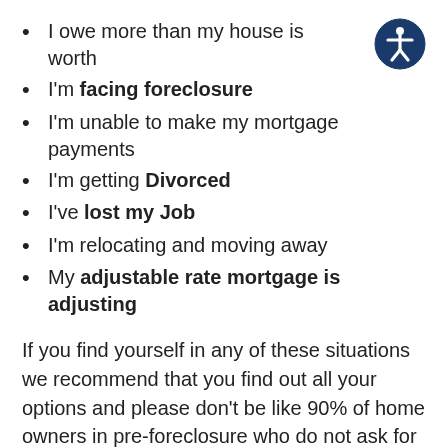I owe more than my house is worth
I'm facing foreclosure
I'm unable to make my mortgage payments
I'm getting Divorced
I've lost my Job
I'm relocating and moving away
My adjustable rate mortgage is adjusting
If you find yourself in any of these situations we recommend that you find out all your options and please don't be like 90% of home owners in pre-foreclosure who do not ask for help to negotiate a Short Sale with their bank(s), and to sell their home before the bank